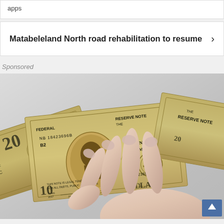apps
Matabeleland North road rehabilitation to resume ›
Sponsored
[Figure (photo): A hand with light pink manicured nails holding multiple US dollar bills ($10 and $20 notes), fanned out, against a light grey background. Serial number NB18423696B visible on a $10 bill.]